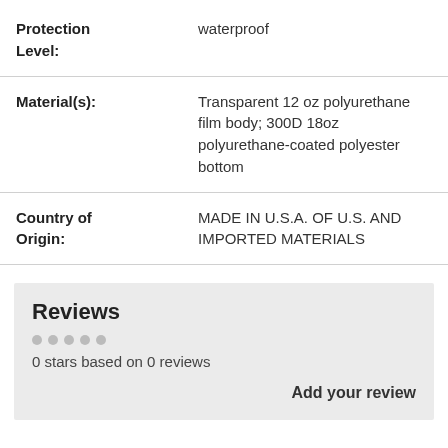| Protection Level: | waterproof |
| Material(s): | Transparent 12 oz polyurethane film body; 300D 18oz polyurethane-coated polyester bottom |
| Country of Origin: | MADE IN U.S.A. OF U.S. AND IMPORTED MATERIALS |
Reviews
0 stars based on 0 reviews
Add your review